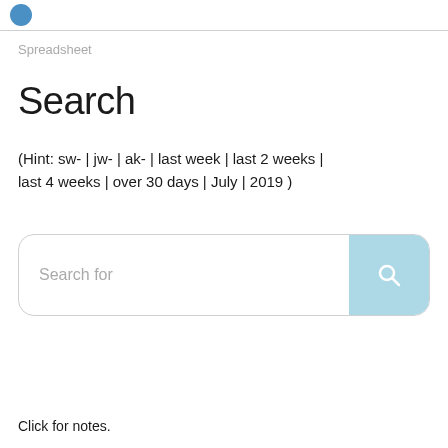Spreadsheet
Search
(Hint: sw- | jw- | ak- | last week | last 2 weeks | last 4 weeks | over 30 days | July | 2019 )
[Figure (screenshot): Search input box with placeholder text 'Search for' and a light blue search button with magnifying glass icon]
Click for notes.